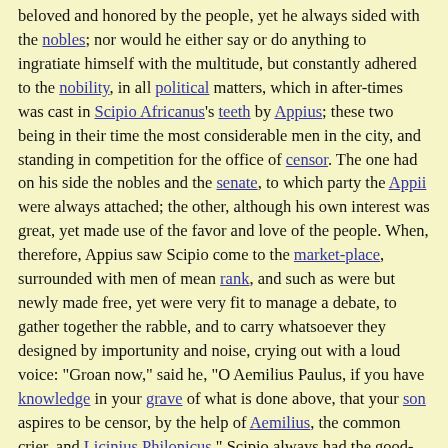beloved and honored by the people, yet he always sided with the nobles; nor would he either say or do anything to ingratiate himself with the multitude, but constantly adhered to the nobility, in all political matters, which in after-times was cast in Scipio Africanus's teeth by Appius; these two being in their time the most considerable men in the city, and standing in competition for the office of censor. The one had on his side the nobles and the senate, to which party the Appii were always attached; the other, although his own interest was great, yet made use of the favor and love of the people. When, therefore, Appius saw Scipio come to the market-place, surrounded with men of mean rank, and such as were but newly made free, yet were very fit to manage a debate, to gather together the rabble, and to carry whatsoever they designed by importunity and noise, crying out with a loud voice: "Groan now," said he, "O Aemilius Paulus, if you have knowledge in your grave of what is done above, that your son aspires to be censor, by the help of Aemilius, the common crier, and Licinius Philonicus." Scipio always had the good-will of the people, because he was constantly heaping favors on them; but Aemilius, although he still took part with the nobles, yet was as much the people's